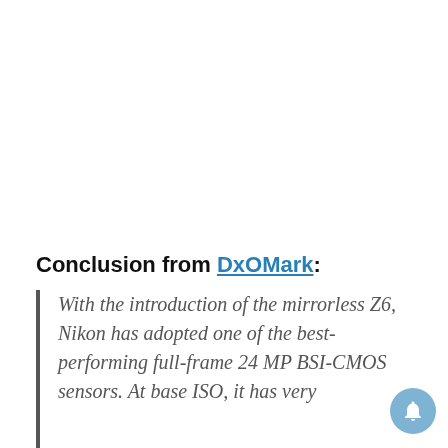Conclusion from DxOMark:
With the introduction of the mirrorless Z6, Nikon has adopted one of the best-performing full-frame 24 MP BSI-CMOS sensors. At base ISO, it has very